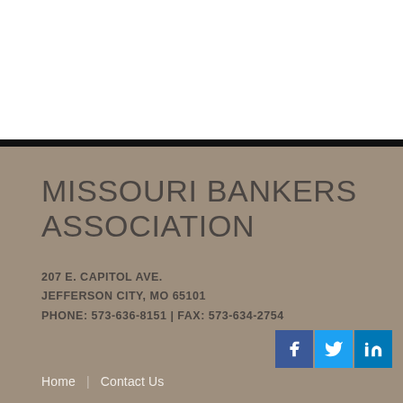MISSOURI BANKERS ASSOCIATION
207 E. CAPITOL AVE.
JEFFERSON CITY, MO 65101
PHONE: 573-636-8151 | FAX: 573-634-2754
[Figure (logo): Social media icons for Facebook, Twitter, and LinkedIn]
Home | Contact Us